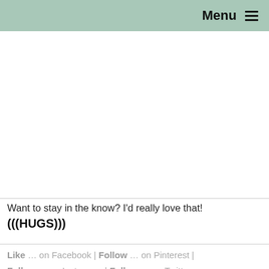Menu ☰
Want to stay in the know? I'd really love that!
(((HUGS)))
Like … on Facebook | Follow … on Pinterest | Follow … on Instagram | Follow … on Twitter